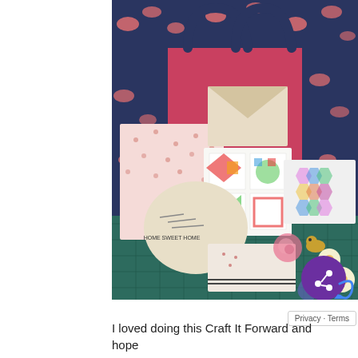[Figure (photo): A craft gift collection photo showing a navy butterfly-print tote bag, a pink floral fabric pouch, a pincushion with 'Home Sweet Home' embroidery, a quilt block card with colorful patterns, a geometric hexagon print card, fabric swatches, decorative pins, keychains, and floral embellishments arranged on a green cutting mat.]
I loved doing this Craft It Forward and hope